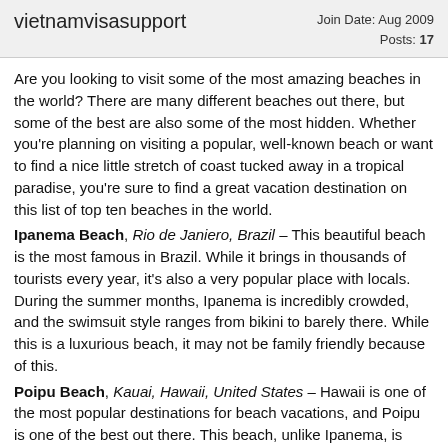vietnamvisasupport — Join Date: Aug 2009 Posts: 17
Are you looking to visit some of the most amazing beaches in the world? There are many different beaches out there, but some of the best are also some of the most hidden. Whether you're planning on visiting a popular, well-known beach or want to find a nice little stretch of coast tucked away in a tropical paradise, you're sure to find a great vacation destination on this list of top ten beaches in the world.
Ipanema Beach, Rio de Janiero, Brazil – This beautiful beach is the most famous in Brazil. While it brings in thousands of tourists every year, it's also a very popular place with locals. During the summer months, Ipanema is incredibly crowded, and the swimsuit style ranges from bikini to barely there. While this is a luxurious beach, it may not be family friendly because of this.
Poipu Beach, Kauai, Hawaii, United States – Hawaii is one of the most popular destinations for beach vacations, and Poipu is one of the best out there. This beach, unlike Ipanema, is focused on family vacations. In addition to swimming and playing in the sand, there are a number of other activities available, including surfing, diving, dining, and even taking a helicopter ride around the island.
Clifton Beach, Cape Town, South Africa – Exotic Clifton Beach features crisp, cool waves that may be too cold to swim in, but the many restaurants,